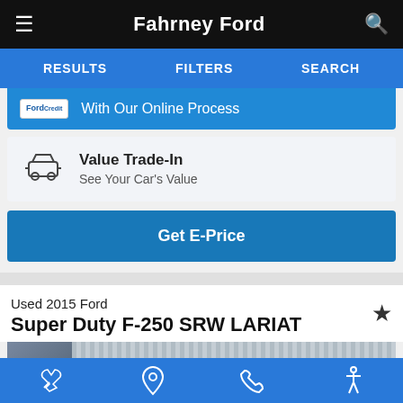Fahrney Ford
RESULTS   FILTERS   SEARCH
With Our Online Process
Value Trade-In
See Your Car's Value
Get E-Price
Used 2015 Ford
Super Duty F-250 SRW LARIAT
[Figure (photo): Partially visible photo of a 2015 Ford Super Duty F-250, showing the side of a vehicle near industrial background]
Service icon, Location icon, Phone icon, Accessibility icon